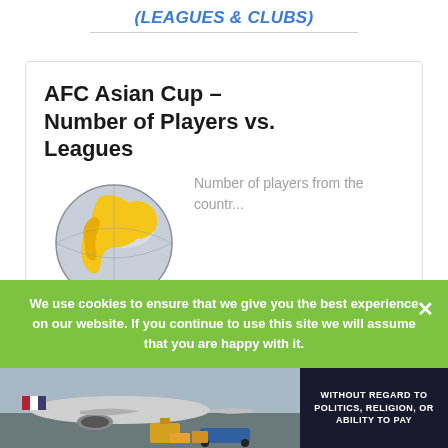(LEAGUES & CLUBS)
AFC Asian Cup – Number of Players vs. Leagues
[Figure (illustration): Globe with Asia highlighted in yellow/gold, resembling a soccer ball]
Number of players from the countr...
We use cookies to ensure that we give you the best experience on our website. If you continue to use this site we will assume that you are happy with it.
[Figure (photo): Advertisement photo showing an airplane on a tarmac with cargo loading, plus a dark panel reading WITHOUT REGARD TO POLITICS, RELIGION, OR ABILITY TO PAY]